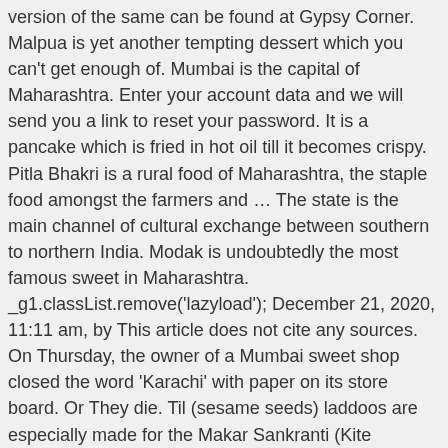version of the same can be found at Gypsy Corner. Malpua is yet another tempting dessert which you can't get enough of. Mumbai is the capital of Maharashtra. Enter your account data and we will send you a link to reset your password. It is a pancake which is fried in hot oil till it becomes crispy. Pitla Bhakri is a rural food of Maharashtra, the staple food amongst the farmers and … The state is the main channel of cultural exchange between southern to northern India. Modak is undoubtedly the most famous sweet in Maharashtra. _g1.classList.remove('lazyload'); December 21, 2020, 11:11 am, by This article does not cite any sources. On Thursday, the owner of a Mumbai sweet shop closed the word 'Karachi' with paper on its store board. Or They die. Til (sesame seeds) laddoos are especially made for the Makar Sankranti (Kite festival). They require the use of goda (sweet) masala, essentially consisting of some combination of coconut, onion, garlic, ginger, red chilli powder, green chillies and mustard. Business listings of Sweets, Mithai manufacturers, suppliers and exporters in Mumbai, मुंबई महाराष्ट्र, मुंबई, Maharashtra along with their contact details & address. Infusing